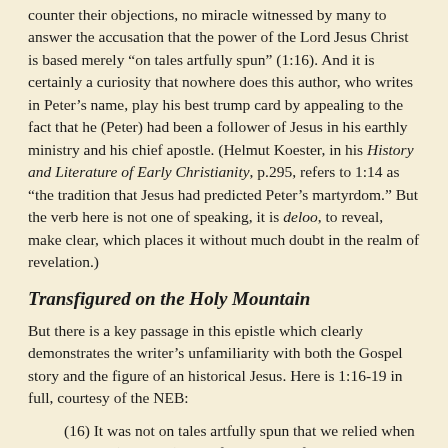counter their objections, no miracle witnessed by many to answer the accusation that the power of the Lord Jesus Christ is based merely “on tales artfully spun” (1:16). And it is certainly a curiosity that nowhere does this author, who writes in Peter’s name, play his best trump card by appealing to the fact that he (Peter) had been a follower of Jesus in his earthly ministry and his chief apostle. (Helmut Koester, in his History and Literature of Early Christianity, p.295, refers to 1:14 as “the tradition that Jesus had predicted Peter’s martyrdom.” But the verb here is not one of speaking, it is deloo, to reveal, make clear, which places it without much doubt in the realm of revelation.)
Transfigured on the Holy Mountain
But there is a key passage in this epistle which clearly demonstrates the writer’s unfamiliarity with both the Gospel story and the figure of an historical Jesus. Here is 1:16-19 in full, courtesy of the NEB:
(16) It was not on tales artfully spun that we relied when we told (aporidzo) you of the power of our Lord